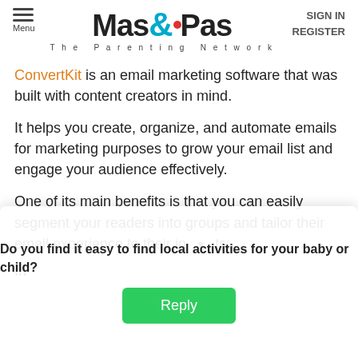Menu | Mas&Pas The Parenting Network | SIGN IN REGISTER
ConvertKit is an email marketing software that was built with content creators in mind.
It helps you create, organize, and automate emails for marketing purposes to grow your email list and engage your audience effectively.
One of its main benefits is that you can easily segment your readers into groups and tailor their email experience to their interests.
In...
[Figure (other): Popup survey widget asking 'Do you find it easy to find local activities for your baby or child?' with a green Reply button]